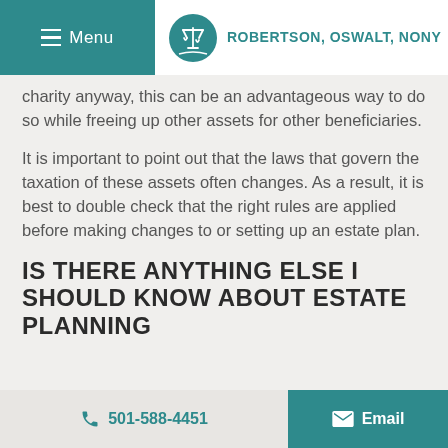Menu | ROBERTSON, OSWALT, NONY
charity anyway, this can be an advantageous way to do so while freeing up other assets for other beneficiaries.
It is important to point out that the laws that govern the taxation of these assets often changes. As a result, it is best to double check that the right rules are applied before making changes to or setting up an estate plan.
IS THERE ANYTHING ELSE I SHOULD KNOW ABOUT ESTATE PLANNING
501-588-4451 | Email